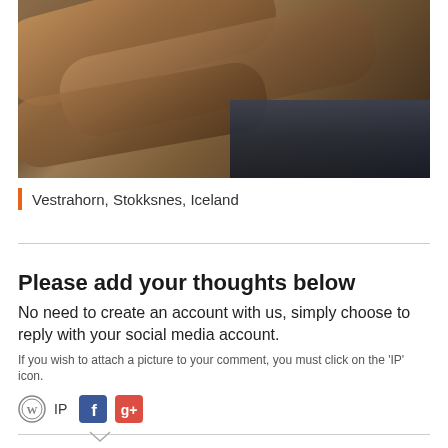[Figure (photo): Driftwood logs on a dark beach or riverbed, viewed from above at an angle, with dark water visible in the background. Vestrahorn, Stokksnes, Iceland.]
Vestrahorn, Stokksnes, Iceland
Please add your thoughts below
No need to create an account with us, simply choose to reply with your social media account.
If you wish to attach a picture to your comment, you must click on the 'IP' icon.
[Figure (illustration): Social media login icons: WordPress (IP), Facebook, Google+]